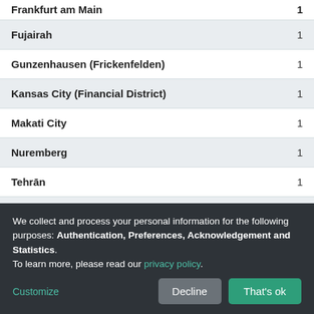| City | Count |
| --- | --- |
| Frankfurt am Main | 1 |
| Fujairah | 1 |
| Gunzenhausen (Frickenfelden) | 1 |
| Kansas City (Financial District) | 1 |
| Makati City | 1 |
| Nuremberg | 1 |
| Tehrān | 1 |
| Tehrān (Gisha) | 1 |
We collect and process your personal information for the following purposes: Authentication, Preferences, Acknowledgement and Statistics. To learn more, please read our privacy policy.